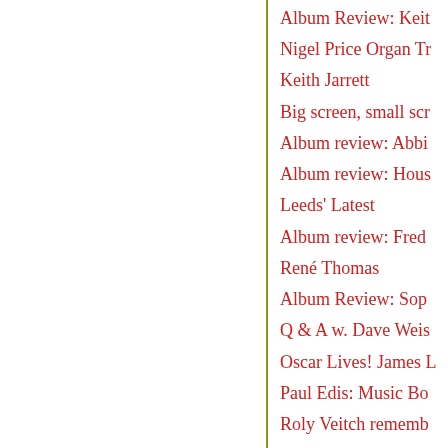Album Review: Keit…
Nigel Price Organ Tr…
Keith Jarrett
Big screen, small scr…
Album review: Abbi…
Album review: Hous…
Leeds' Latest
Album review: Fred…
René Thomas
Album Review: Sop…
Q & A w. Dave Weis…
Oscar Lives! James L…
Paul Edis: Music Bo…
Roly Veitch rememb…